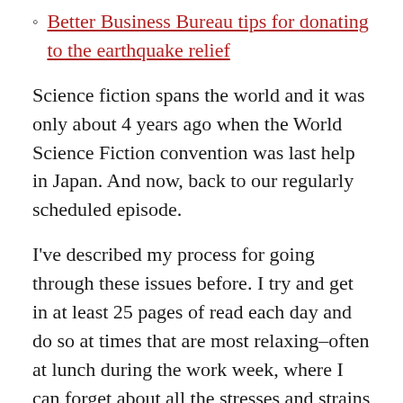Better Business Bureau tips for donating to the earthquake relief
Science fiction spans the world and it was only about 4 years ago when the World Science Fiction convention was last help in Japan. And now, back to our regularly scheduled episode.
I've described my process for going through these issues before. I try and get in at least 25 pages of read each day and do so at times that are most relaxing–often at lunch during the work week, where I can forget about all the stresses and strains of the day job and disappear into Golden Age stories. As I read, I take notes. These notes are made up of thoughts that occur to me while I'm reading.